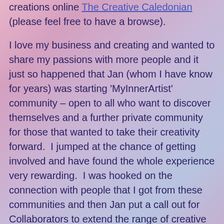creations online The Creative Caledonian (please feel free to have a browse).
I love my business and creating and wanted to share my passions with more people and it just so happened that Jan (whom I have know for years) was starting 'MyInnerArtist' community – open to all who want to discover themselves and a further private community for those that wanted to take their creativity forward.  I jumped at the chance of getting involved and have found the whole experience very rewarding.  I was hooked on the connection with people that I got from these communities and then Jan put a call out for Collaborators to extend the range of creative sessions that n'JoyArt offers.   Buoyed up from my experience with the groups I stepped forward and am running watercolour sessions with various images which you can all create no matter what your level of experience.
The ethos of n'JoyArt is carried throughout my sessions, they are fun, friendly and supportive, catering for all levels with only basic painting equipment required, however, the more advanced person can also explore their own creativity with all images.